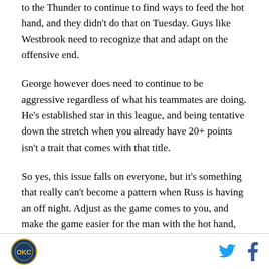to the Thunder to continue to find ways to feed the hot hand, and they didn't do that on Tuesday. Guys like Westbrook need to recognize that and adapt on the offensive end.
George however does need to continue to be aggressive regardless of what his teammates are doing. He's established star in this league, and being tentative down the stretch when you already have 20+ points isn't a trait that comes with that title.
So yes, this issue falls on everyone, but it's something that really can't become a pattern when Russ is having an off night. Adjust as the game comes to you, and make the game easier for the man with the hot hand,